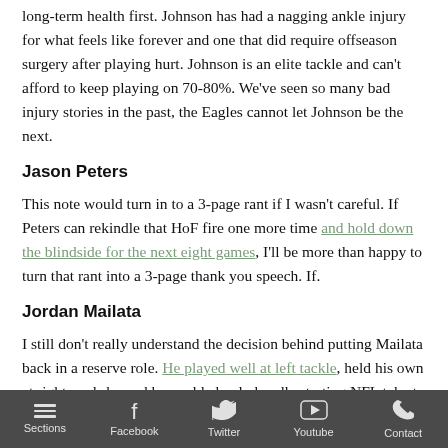long-term health first. Johnson has had a nagging ankle injury for what feels like forever and one that did require offseason surgery after playing hurt. Johnson is an elite tackle and can't afford to keep playing on 70-80%. We've seen so many bad injury stories in the past, the Eagles cannot let Johnson be the next.
Jason Peters
This note would turn in to a 3-page rant if I wasn't careful. If Peters can rekindle that HoF fire one more time and hold down the blindside for the next eight games, I'll be more than happy to turn that rant into a 3-page thank you speech. If.
Jordan Mailata
I still don't really understand the decision behind putting Mailata back in a reserve role. He played well at left tackle, held his own at right, and showed he could clearly handle starting NFL talent. I'm
Sections  Facebook  Twitter  Youtube  Contact